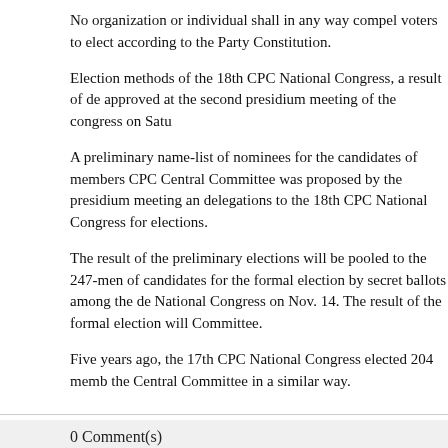No organization or individual shall in any way compel voters to elect according to the Party Constitution.
Election methods of the 18th CPC National Congress, a result of de approved at the second presidium meeting of the congress on Satu
A preliminary name-list of nominees for the candidates of members CPC Central Committee was proposed by the presidium meeting an delegations to the 18th CPC National Congress for elections.
The result of the preliminary elections will be pooled to the 247-men of candidates for the formal election by secret ballots among the de National Congress on Nov. 14. The result of the formal election will Committee.
Five years ago, the 17th CPC National Congress elected 204 memb the Central Committee in a similar way.
Print  E-mail  SHARE  0 Comment(s)